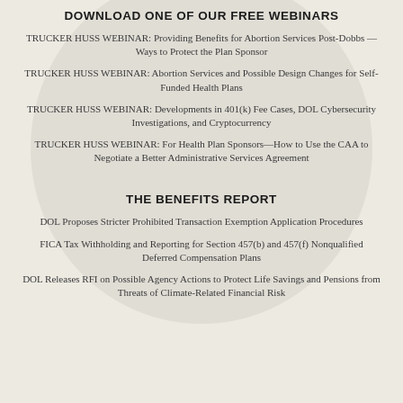DOWNLOAD ONE OF OUR FREE WEBINARS
TRUCKER HUSS WEBINAR: Providing Benefits for Abortion Services Post-Dobbs — Ways to Protect the Plan Sponsor
TRUCKER HUSS WEBINAR: Abortion Services and Possible Design Changes for Self-Funded Health Plans
TRUCKER HUSS WEBINAR: Developments in 401(k) Fee Cases, DOL Cybersecurity Investigations, and Cryptocurrency
TRUCKER HUSS WEBINAR: For Health Plan Sponsors—How to Use the CAA to Negotiate a Better Administrative Services Agreement
THE BENEFITS REPORT
DOL Proposes Stricter Prohibited Transaction Exemption Application Procedures
FICA Tax Withholding and Reporting for Section 457(b) and 457(f) Nonqualified Deferred Compensation Plans
DOL Releases RFI on Possible Agency Actions to Protect Life Savings and Pensions from Threats of Climate-Related Financial Risk